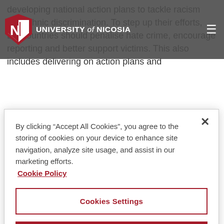University of Nicosia
developing national action plans to tackle racism and ethnic discrimination. To step up their efforts, EU countries should penalise hate crime, encourage reporting and better support victims. This also includes delivering on action plans and
By clicking “Accept All Cookies”, you agree to the storing of cookies on your device to enhance site navigation, analyze site usage, and assist in our marketing efforts.
Cookie Policy
Cookies Settings
Reject All
Accept All Cookies